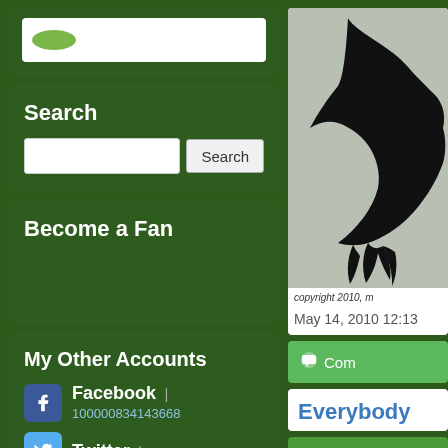[Figure (screenshot): Logo/search input area at top of left sidebar with white rounded input box and green oval logo]
Search
[Figure (screenshot): Search input box with Search button]
Become a Fan
My Other Accounts
Facebook | 100000834143668
Twitter | meadowblog
[Figure (photo): Black bird silhouette on grey background with copyright 2010 text]
May 14, 2010 12:13
Com
Everybody